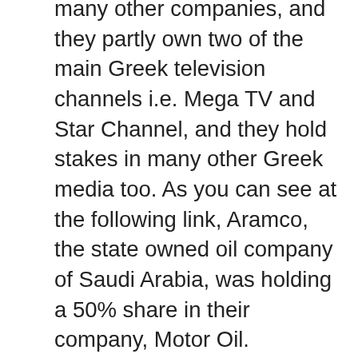many other companies, and they partly own two of the main Greek television channels i.e. Mega TV and Star Channel, and they hold stakes in many other Greek media too. As you can see at the following link, Aramco, the state owned oil company of Saudi Arabia, was holding a 50% share in their company, Motor Oil.
http://www.imakenews.com/lng/e_article000497692.cfm?0,w
Aramco can be seen as a synonym for Saudi Arabia, since it is the state owned oil company of one of the richest oil countries in the world. Given the partnership between the Vardinoyiannis family and Saudi Arabia, one can conclude that in a sense, the Greek public was informed by Saudi